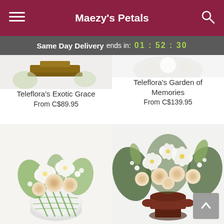Maezy's Petals
Same Day Delivery ends in: 01 : 52 : 30
[Figure (photo): Partial view of a floral arrangement (Teleflora's Exotic Grace) with a wooden riser, cropped at top]
Teleflora's Exotic Grace
From C$89.95
[Figure (photo): Partial view of a floral arrangement (Teleflora's Garden of Memories), white flowers, cropped at top]
Teleflora's Garden of Memories
From C$139.95
[Figure (photo): White lilies and cream roses in a round white vase with green lattice pattern — Teleflora's Exotic Grace]
[Figure (photo): Large arrangement of white lilies and cream roses in a dark urn — Teleflora's Garden of Memories]